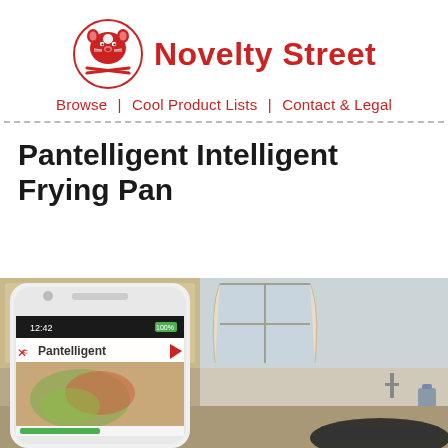[Figure (logo): Novelty Street logo: red cartoon hamster/bear face with crossed spoons, beside red bold text 'Novelty Street']
Browse | Cool Product Lists | Contact & Legal
Pantelligent Intelligent Frying Pan
[Figure (photo): Photo of a smartphone showing the Pantelligent app (cooking timer interface) next to a frying pan in a kitchen setting with cabinets and counter visible in background]